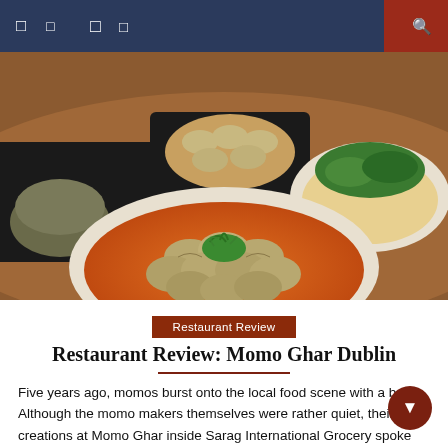Navigation bar with menu icons
[Figure (photo): Food spread on a table featuring a bowl of momos (dumplings) in orange sauce topped with cilantro in the foreground, surrounded by other dishes including noodles with vegetables and appetizers on dark trays.]
Restaurant Review
Restaurant Review: Momo Ghar Dublin
Five years ago, momos burst onto the local food scene with a bang. Although the momo makers themselves were rather quiet, their creations at Momo Ghar inside Sarag... International Grocery spoke loudly. The place has garnered